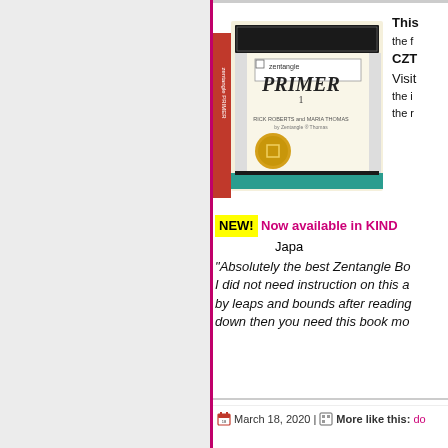[Figure (photo): Book cover of Zentangle Primer 1 by Rick Roberts and Maria Thomas, showing an ornate illustrated box/book with zentangle patterns]
This the f CZT Visit the i the r
NEW! Now available in KIND Japan
"Absolutely the best Zentangle Bo I did not need instruction on this a by leaps and bounds after reading down then you need this book mo
March 18, 2020 | More like this: do